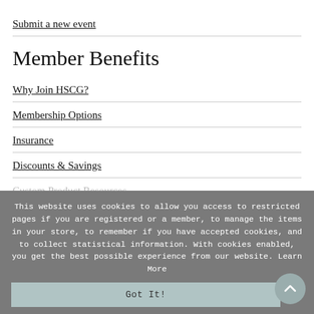Submit a new event
Member Benefits
Why Join HSCG?
Membership Options
Insurance
Discounts & Savings
Custom Product Resources
This website uses cookies to allow you access to restricted pages if you are registered or a member, to manage the items in your store, to remember if you have accepted cookies, and to collect statistical information. With cookies enabled, you get the best possible experience from our website. Learn More
Got It!